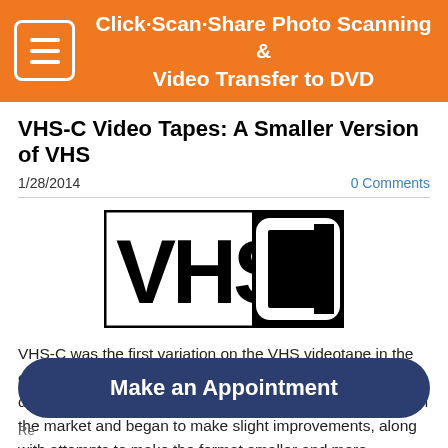Click·Scan·Share Photo Scanning & Video Transfer to DVD
VHS-C Video Tapes: A Smaller Version of VHS
1/28/2014
0 Comments
[Figure (logo): VHS-C logo: black and white rectangular logo with 'VHS' in large bold letters on white background and 'C' in large white letter on black background]
VHS-C was the first variation on the VHS videotape in the early 1980s after about six years of battling for market domination against Betamax. By 1982 VHS had largely won the market and began to make slight improvements, along with attempts to make the format smaller and more compact.
Make an Appointment